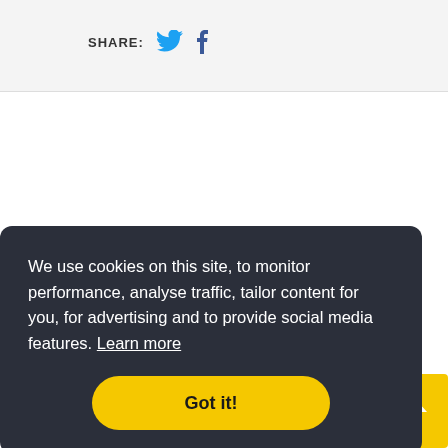SHARE:
Reset and start again
[Figure (screenshot): Partial bottom card with circle avatar icon]
We use cookies on this site, to monitor performance, analyse traffic, tailor content for you, for advertising and to provide social media features. Learn more
Got it!